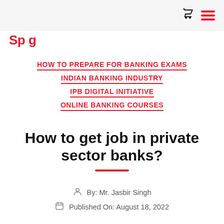HOW TO PREPARE FOR BANKING EXAMS
INDIAN BANKING INDUSTRY
IPB DIGITAL INITIATIVE
ONLINE BANKING COURSES
How to get job in private sector banks?
By: Mr. Jasbir Singh
Published On: August 18, 2022